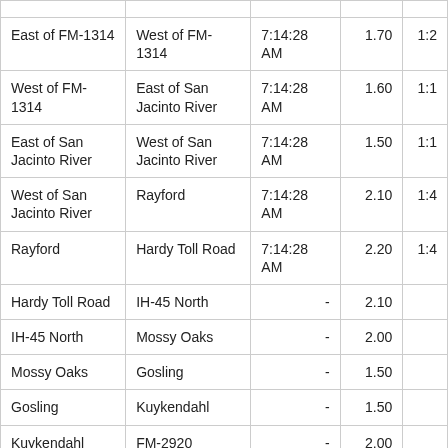| From | To | Time | Distance | Travel Time |
| --- | --- | --- | --- | --- |
| East of FM-1314 | West of FM-1314 | 7:14:28 AM | 1.70 | 1:2 |
| West of FM-1314 | East of San Jacinto River | 7:14:28 AM | 1.60 | 1:1 |
| East of San Jacinto River | West of San Jacinto River | 7:14:28 AM | 1.50 | 1:1 |
| West of San Jacinto River | Rayford | 7:14:28 AM | 2.10 | 1:4 |
| Rayford | Hardy Toll Road | 7:14:28 AM | 2.20 | 1:4 |
| Hardy Toll Road | IH-45 North | - | 2.10 |  |
| IH-45 North | Mossy Oaks | - | 2.00 |  |
| Mossy Oaks | Gosling | - | 1.50 |  |
| Gosling | Kuykendahl | - | 1.50 |  |
| Kuykendahl | FM-2920 | - | 2.00 |  |